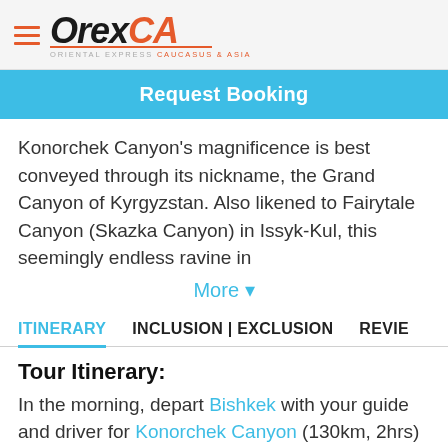OrexCA — Oriental Express Caucasus & Asia
Request Booking
Konorchek Canyon's magnificence is best conveyed through its nickname, the Grand Canyon of Kyrgyzstan. Also likened to Fairytale Canyon (Skazka Canyon) in Issyk-Kul, this seemingly endless ravine in
More ▾
ITINERARY   INCLUSION | EXCLUSION   REVIE
Tour Itinerary:
In the morning, depart Bishkek with your guide and driver for Konorchek Canyon (130km, 2hrs) via the A365 Highway.
The hike begins in Boom Gorge at the Red Bridge